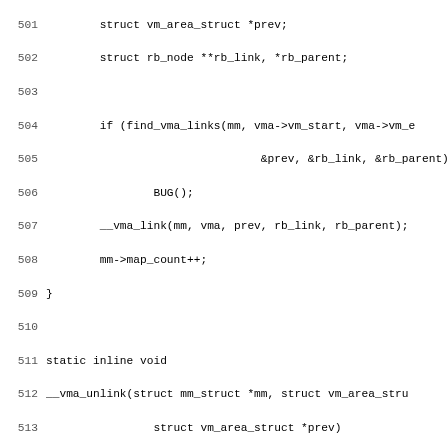Source code listing lines 501-532+, showing C kernel memory management functions __vma_link, __vma_unlink, and beginning of vma_adjust.